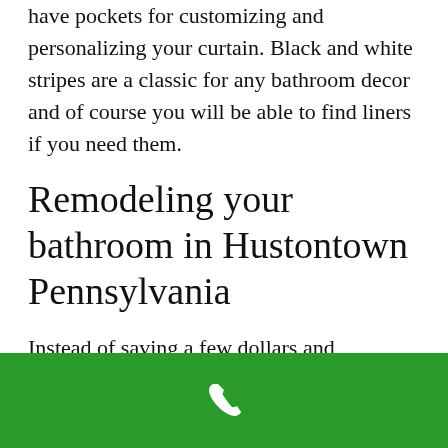have pockets for customizing and personalizing your curtain. Black and white stripes are a classic for any bathroom decor and of course you will be able to find liners if you need them.
Remodeling your bathroom in Hustontown Pennsylvania
Instead of saving a few dollars and purchasing an inferior product,
[Figure (other): Green footer bar with white phone/call icon]